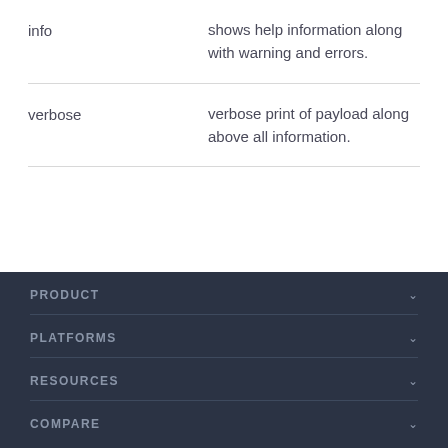|  |  |
| --- | --- |
| info | shows help information along with warning and errors. |
| verbose | verbose print of payload along above all information. |
PRODUCT
PLATFORMS
RESOURCES
COMPARE